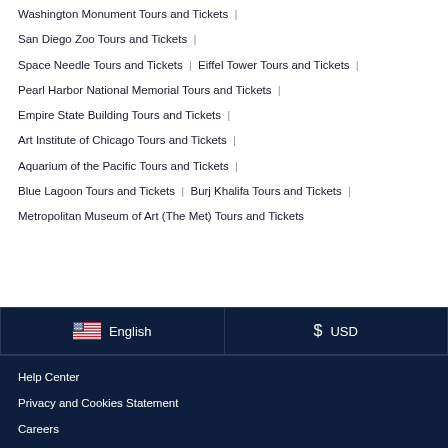Washington Monument Tours and Tickets |
San Diego Zoo Tours and Tickets |
Space Needle Tours and Tickets | Eiffel Tower Tours and Tickets |
Pearl Harbor National Memorial Tours and Tickets |
Empire State Building Tours and Tickets |
Art Institute of Chicago Tours and Tickets |
Aquarium of the Pacific Tours and Tickets |
Blue Lagoon Tours and Tickets | Burj Khalifa Tours and Tickets |
Metropolitan Museum of Art (The Met) Tours and Tickets
English | $ USD
Help Center
Privacy and Cookies Statement
Careers